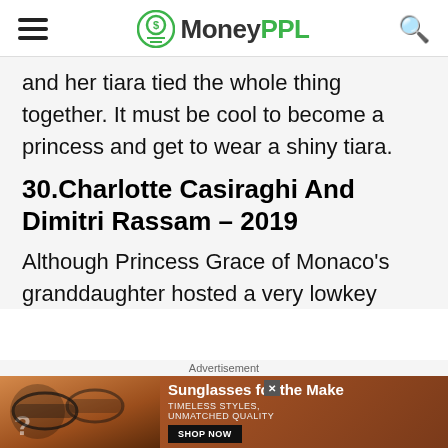MoneyPPL
and her tiara tied the whole thing together. It must be cool to become a princess and get to wear a shiny tiara.
30.Charlotte Casiraghi And Dimitri Rassam – 2019
Although Princess Grace of Monaco's granddaughter hosted a very lowkey
[Figure (other): Advertisement banner for sunglasses with text 'Sunglasses for the Make', 'TIMELESS STYLES, UNMATCHED QUALITY', and a 'SHOP NOW' button, showing two women wearing sunglasses]